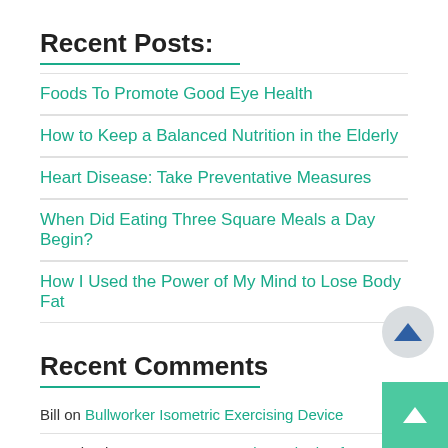Recent Posts:
Foods To Promote Good Eye Health
How to Keep a Balanced Nutrition in the Elderly
Heart Disease: Take Preventative Measures
When Did Eating Three Square Meals a Day Begin?
How I Used the Power of My Mind to Lose Body Fat
Recent Comments
Bill on Bullworker Isometric Exercising Device
Ray Plumlee on How To Have Six-Pack Abs If You Are Over 60